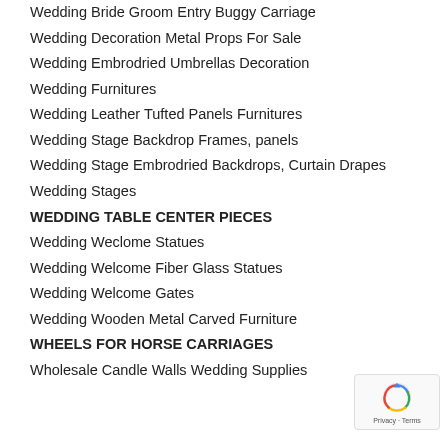Wedding Bride Groom Entry Buggy Carriage
Wedding Decoration Metal Props For Sale
Wedding Embrodried Umbrellas Decoration
Wedding Furnitures
Wedding Leather Tufted Panels Furnitures
Wedding Stage Backdrop Frames, panels
Wedding Stage Embrodried Backdrops, Curtain Drapes
Wedding Stages
WEDDING TABLE CENTER PIECES
Wedding Weclome Statues
Wedding Welcome Fiber Glass Statues
Wedding Welcome Gates
Wedding Wooden Metal Carved Furniture
WHEELS FOR HORSE CARRIAGES
Wholesale Candle Walls Wedding Supplies